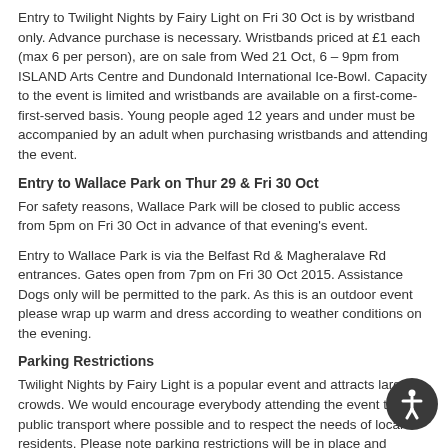Entry to Twilight Nights by Fairy Light on Fri 30 Oct is by wristband only. Advance purchase is necessary. Wristbands priced at £1 each (max 6 per person), are on sale from Wed 21 Oct, 6 – 9pm from ISLAND Arts Centre and Dundonald International Ice-Bowl. Capacity to the event is limited and wristbands are available on a first-come-first-served basis. Young people aged 12 years and under must be accompanied by an adult when purchasing wristbands and attending the event.
Entry to Wallace Park on Thur 29 & Fri 30 Oct
For safety reasons, Wallace Park will be closed to public access from 5pm on Fri 30 Oct in advance of that evening's event.
Entry to Wallace Park is via the Belfast Rd & Magheralave Rd entrances. Gates open from 7pm on Fri 30 Oct 2015. Assistance Dogs only will be permitted to the park. As this is an outdoor event please wrap up warm and dress according to weather conditions on the evening.
Parking Restrictions
Twilight Nights by Fairy Light is a popular event and attracts large crowds. We would encourage everybody attending the event to use public transport where possible and to respect the needs of local residents. Please note parking restrictions will be in place and drivers are reminded that they should avoid parking anywhere where they may be blocking entrances to local residences or where they may be